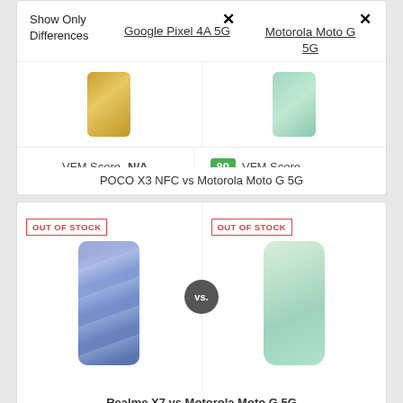Show Only Differences
Google Pixel 4A 5G
Motorola Moto G 5G
VFM Score - N/A
80 VFM Score
POCO X3 NFC vs Motorola Moto G 5G
OUT OF STOCK
OUT OF STOCK
vs.
84 VFM Score
80 VFM Score
Realme X7 vs Motorola Moto G 5G